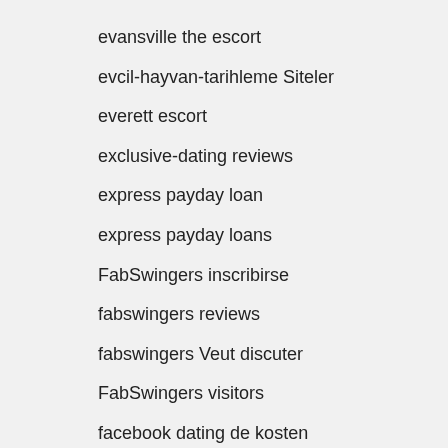evansville the escort
evcil-hayvan-tarihleme Siteler
everett escort
exclusive-dating reviews
express payday loan
express payday loans
FabSwingers inscribirse
fabswingers reviews
fabswingers Veut discuter
FabSwingers visitors
facebook dating de kosten